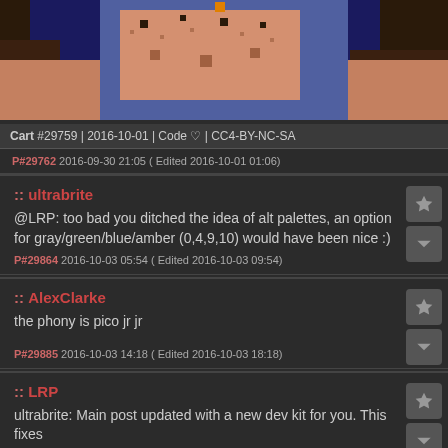[Figure (screenshot): Pixel art game screenshot showing character/scene with blue sky and skin-toned figures at top portion]
Cart #29759 | 2016-10-01 | Code ♡ | CC4-BY-NC-SA
P#29762 2016-09-30 21:05 ( Edited 2016-10-01 01:06)
:: ultrabrite
@LRP: too bad you ditched the idea of alt palettes, an option for gray/green/blue/amber (0,4,9,10) would have been nice :)
P#29864 2016-10-03 05:54 ( Edited 2016-10-03 09:54)
:: AlexClarke
the phony is pico jr jr
P#29885 2016-10-03 14:18 ( Edited 2016-10-03 18:18)
:: LRP
ultrabrite: Main post updated with a new dev kit for you. This fixes